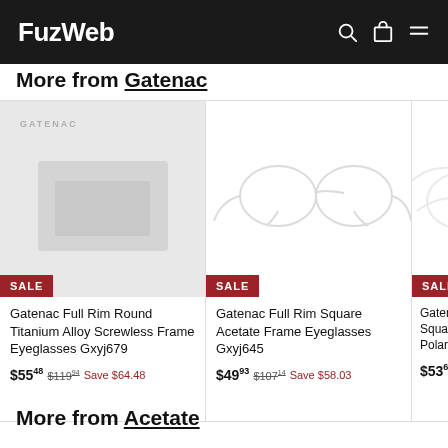FuzWeb
More from Gatenac
[Figure (photo): Product card 1: Gatenac Full Rim Round Titanium Alloy Screwless Frame Eyeglasses Gxyj679 - placeholder image with GATENAC logo, SALE badge]
Gatenac Full Rim Round Titanium Alloy Screwless Frame Eyeglasses Gxyj679
$55.48  $119.94  Save $64.48
[Figure (photo): Product card 2: Gatenac Full Rim Square Acetate Frame Eyeglasses Gxyj645 - image of clear frame glasses, SALE badge]
Gatenac Full Rim Square Acetate Frame Eyeglasses Gxyj645
$49.93  $107.14  Save $58.03
[Figure (photo): Product card 3 (partial): Gatenac Square Polarized - SALE badge visible]
$53.63
More from Acetate